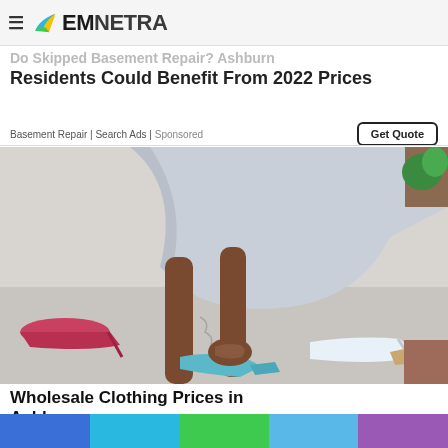EMNETRA
Do Skipped Basement Repair? Ashburn Residents Could Benefit From 2022 Prices
Basement Repair | Search Ads | Sponsored
Get Quote
[Figure (photo): Woman in a light blue/grey dress trying on high-heeled shoes, with pink heels and blue/white heels on the floor around her feet]
Wholesale Clothing Prices in Ashburn